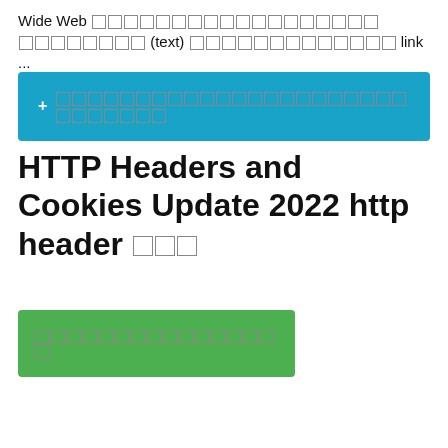Wide Web □□□□□□□□□□□□□□□□□□ □□□□□□□□ (text) □□□□□□□□□□□□□ link ...
+ □□□□□□□□□□□□□□□□□□□□□□□□□□□□
HTTP Headers and Cookies Update 2022 http header □□□
□□□□□□□□□□□□□□□□
[Figure (screenshot): Video card showing HTTP Headers and Cookies channel with avatar photo, three-dot menu, and collapse chevron icon, with large white text 'le HTTP He' on black background]